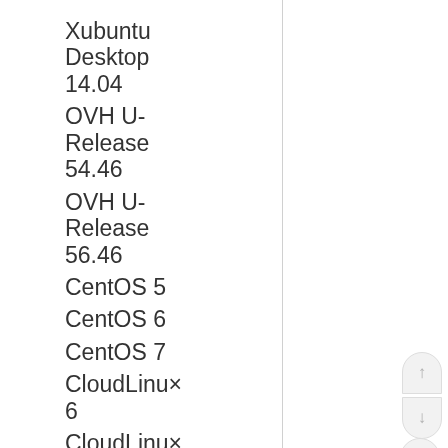Xubuntu Desktop 14.04
OVH U-Release 54.46
OVH U-Release 56.46
CentOS 5
CentOS 6
CentOS 7
CloudLinux 6
CloudLinux 7
Gentoo (latest version)
Slackware 14